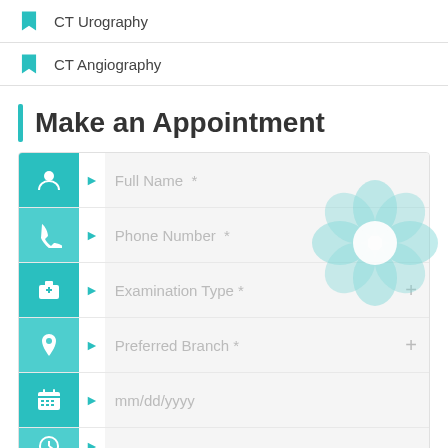CT Urography
CT Angiography
Make an Appointment
[Figure (screenshot): Appointment form with fields: Full Name, Phone Number, Examination Type, Preferred Branch, mm/dd/yyyy date, and a partially visible time field. Each row has a teal icon on the left and a light arrow, with a flower/watermark overlay on the Full Name field.]